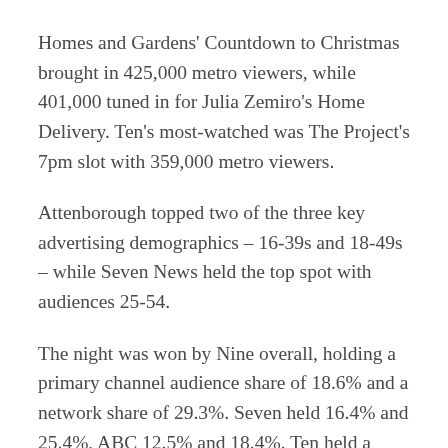Homes and Gardens' Countdown to Christmas brought in 425,000 metro viewers, while 401,000 tuned in for Julia Zemiro's Home Delivery. Ten's most-watched was The Project's 7pm slot with 359,000 metro viewers.
Attenborough topped two of the three key advertising demographics – 16-39s and 18-49s – while Seven News held the top spot with audiences 25-54.
The night was won by Nine overall, holding a primary channel audience share of 18.6% and a network share of 29.3%. Seven held 16.4% and 25.4%, ABC 12.5% and 18.4%. Ten held a channel audience share of 8.1% and a network share of 17.0%. The most popular multi-channel was 10